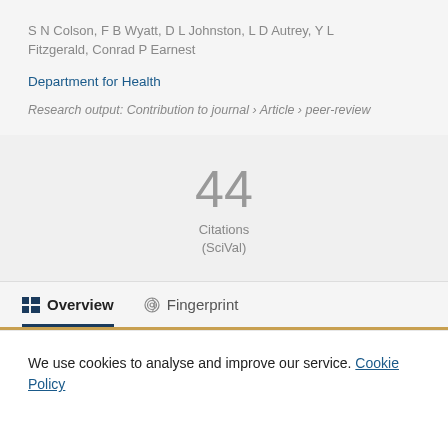S N Colson, F B Wyatt, D L Johnston, L D Autrey, Y L Fitzgerald, Conrad P Earnest
Department for Health
Research output: Contribution to journal › Article › peer-review
44
Citations
(SciVal)
Overview   Fingerprint
We use cookies to analyse and improve our service. Cookie Policy